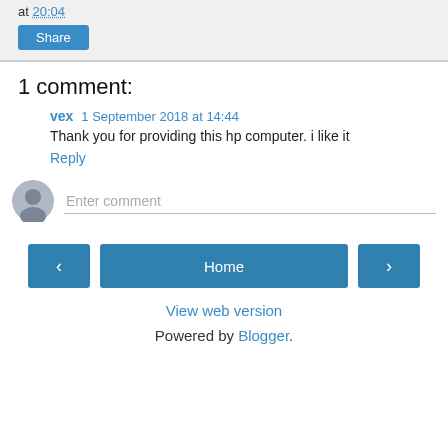at 20:04
Share
1 comment:
vex 1 September 2018 at 14:44
Thank you for providing this hp computer. i like it
Reply
Enter comment
Home
View web version
Powered by Blogger.